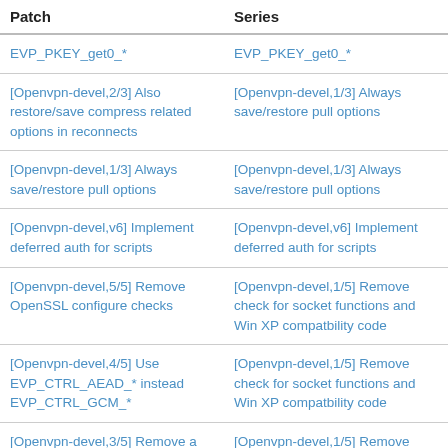| Patch | Series |
| --- | --- |
| EVP_PKEY_get0_* | EVP_PKEY_get0_* |
| [Openvpn-devel,2/3] Also restore/save compress related options in reconnects | [Openvpn-devel,1/3] Always save/restore pull options |
| [Openvpn-devel,1/3] Always save/restore pull options | [Openvpn-devel,1/3] Always save/restore pull options |
| [Openvpn-devel,v6] Implement deferred auth for scripts | [Openvpn-devel,v6] Implement deferred auth for scripts |
| [Openvpn-devel,5/5] Remove OpenSSL configure checks | [Openvpn-devel,1/5] Remove check for socket functions and Win XP compatbility code |
| [Openvpn-devel,4/5] Use EVP_CTRL_AEAD_* instead EVP_CTRL_GCM_* | [Openvpn-devel,1/5] Remove check for socket functions and Win XP compatbility code |
| [Openvpn-devel,3/5] Remove a number of checks for functions/headers that are always present | [Openvpn-devel,1/5] Remove check for socket functions and Win XP compatbility code |
| [Openvpn-devel,2/5] Remove checks for uint* types that are | [Openvpn-devel,1/5] Remove check for socket functions and |